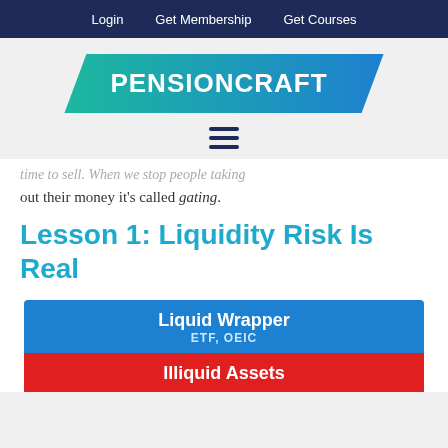Login  Get Membership  Get Courses
[Figure (logo): PensionCraft logo — white bold text on a teal-to-blue parallelogram shape]
[Figure (other): Hamburger menu icon (three horizontal dark blue lines)]
...time to sell. When we stop people taking out their money it's called gating.
Lesson 1: Liquidity Risk Is Real
[Figure (infographic): Diagram showing a blue box labeled 'Liquid Wrapper / ETF, OEIC' on top, and a red bar labeled 'Illiquid Assets' below it.]